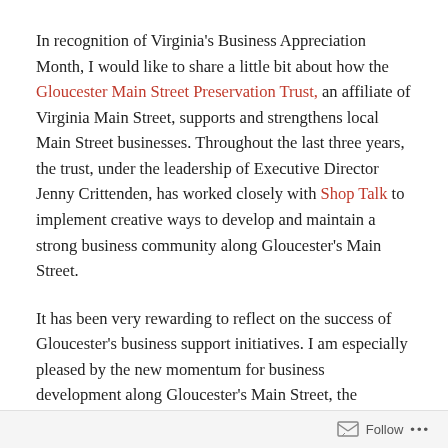In recognition of Virginia's Business Appreciation Month, I would like to share a little bit about how the Gloucester Main Street Preservation Trust, an affiliate of Virginia Main Street, supports and strengthens local Main Street businesses. Throughout the last three years, the trust, under the leadership of Executive Director Jenny Crittenden, has worked closely with Shop Talk to implement creative ways to develop and maintain a strong business community along Gloucester's Main Street.
It has been very rewarding to reflect on the success of Gloucester's business support initiatives. I am especially pleased by the new momentum for business development along Gloucester's Main Street, the increasing sales that local businesses are achieving, the positive outcomes of one-on-one
Follow ...